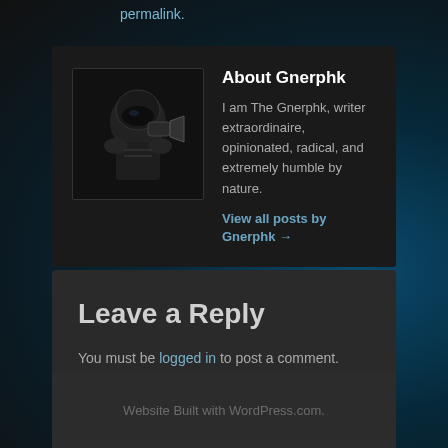permalink.
About Gnerphk
I am The Gnerphk, writer extraordinaire, opinionated, radical, and extremely humble by nature.
View all posts by Gnerphk →
Leave a Reply
You must be logged in to post a comment.
Website Built with WordPress.com.